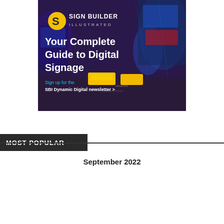[Figure (illustration): Sign Builder Illustrated advertisement. Dark nighttime photo of Times Square NYC with bright LED billboards and yellow taxis. Yellow S logo on left, white text: 'SIGN BUILDER ILLUSTRATED'. Large white bold text: 'Your Complete Guide to Digital Signage'. Blue text: 'Sign up for the', white text: 'SBI Dynamic Digital newsletter >']
MOST POPULAR
September 2022